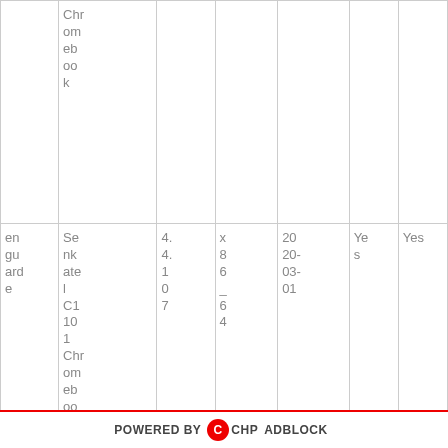|  |  |  |  |  |  |  |
| --- | --- | --- | --- | --- | --- | --- |
|  | Chromebook |  |  |  |  |  |
| en guarde | Senkatel C101 Chromebook | 4.4.107 | x86_64 | 2020-03-01 | Yes | Yes |
| en guarde | M&A Chromebook | 4.4.107 | x86_64 | 2020-03-01 | Yes | Yes |
POWERED BY CHPADBLOCK